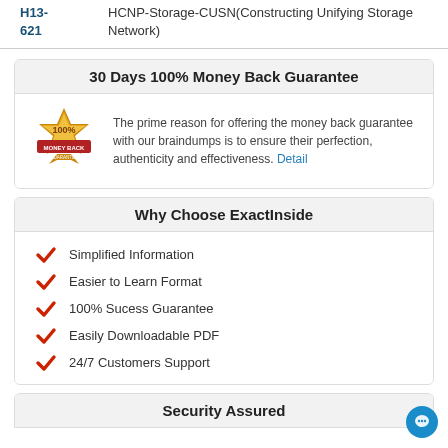| Code | Description |
| --- | --- |
| H13-621 | HCNP-Storage-CUSN(Constructing Unifying Storage Network) |
30 Days 100% Money Back Guarantee
The prime reason for offering the money back guarantee with our braindumps is to ensure their perfection, authenticity and effectiveness. Detail
Why Choose ExactInside
Simplified Information
Easier to Learn Format
100% Sucess Guarantee
Easily Downloadable PDF
24/7 Customers Support
Security Assured